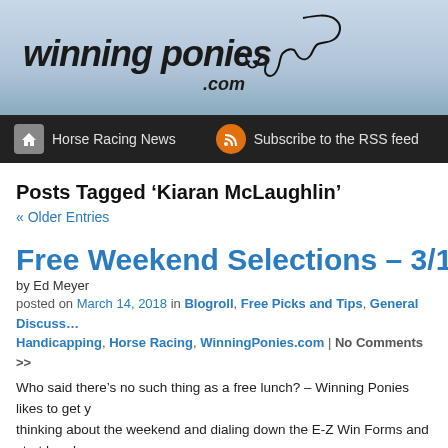[Figure (logo): Winning Ponies .com logo with horse racing silhouette on blue-grey gradient background]
Horse Racing News   Subscribe to the RSS feed
Posts Tagged 'Kiaran McLaughlin'
« Older Entries
Free Weekend Selections – 3/10/18
by Ed Meyer
posted on March 14, 2018 in Blogroll, Free Picks and Tips, General Discussion, Handicapping, Horse Racing, WinningPonies.com | No Comments >>
Who said there's no such thing as a free lunch? – Winning Ponies likes to get you thinking about the weekend and dialing down the E-Z Win Forms and start handicapping for Saturday.  – With each passing weekend, we will be one step closer to making our way to Louisville. I can just smell the roses from […]
Filed under Althea, Amy's Challenge, Andina Del Sur, Antonio Gallardo, Chad B…, Churchill, Cosmic Burst, Curlin, Deauville, Del Mar, Don Von Hemel, E-Z Win F…, Meyer, Enticed, Florida Oaks, France, Free Selections, G3 Sweet Chant,